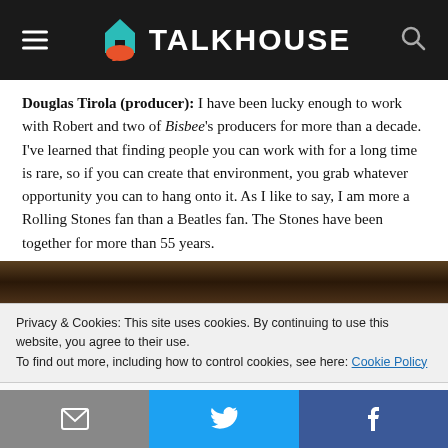TALKHOUSE
Douglas Tirola (producer): I have been lucky enough to work with Robert and two of Bisbee's producers for more than a decade. I've learned that finding people you can work with for a long time is rare, so if you can create that environment, you grab whatever opportunity you can to hang onto it. As I like to say, I am more a Rolling Stones fan than a Beatles fan. The Stones have been together for more than 55 years.
[Figure (photo): Partial view of a dark-toned photograph, mostly obscured by the cookie consent banner overlay.]
Privacy & Cookies: This site uses cookies. By continuing to use this website, you agree to their use.
To find out more, including how to control cookies, see here: Cookie Policy
Email | Twitter | Facebook share buttons